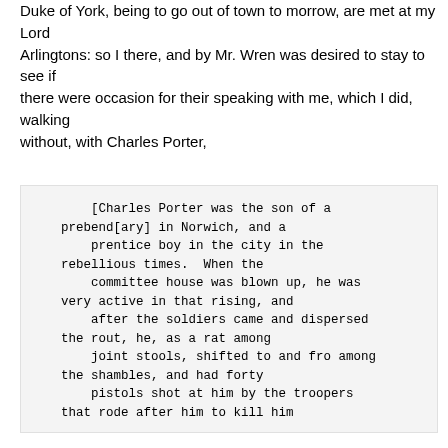Duke of York, being to go out of town to morrow, are met at my Lord Arlingtons: so I there, and by Mr. Wren was desired to stay to see if there were occasion for their speaking with me, which I did, walking without, with Charles Porter,
[Charles Porter was the son of a prebend[ary] in Norwich, and a prentice boy in the city in the rebellious times. When the committee house was blown up, he was very active in that rising, and after the soldiers came and dispersed the rout, he, as a rat among joint stools, shifted to and fro among the shambles, and had forty pistols shot at him by the troopers that rode after him to kill him